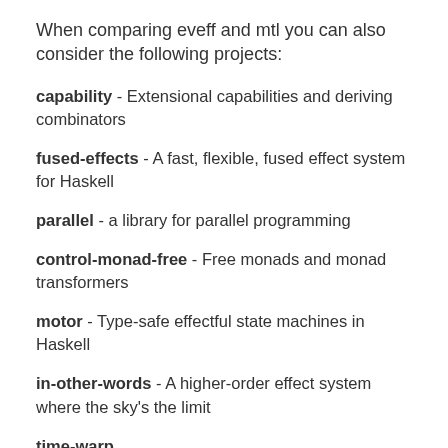When comparing eveff and mtl you can also consider the following projects:
capability - Extensional capabilities and deriving combinators
fused-effects - A fast, flexible, fused effect system for Haskell
parallel - a library for parallel programming
control-monad-free - Free monads and monad transformers
motor - Type-safe effectful state machines in Haskell
in-other-words - A higher-order effect system where the sky's the limit
time-warp